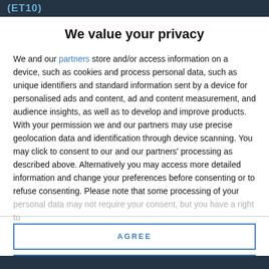[Figure (screenshot): Dark header strip showing partial text in blue/teal font resembling '(ET10)' or similar code]
We value your privacy
We and our partners store and/or access information on a device, such as cookies and process personal data, such as unique identifiers and standard information sent by a device for personalised ads and content, ad and content measurement, and audience insights, as well as to develop and improve products. With your permission we and our partners may use precise geolocation data and identification through device scanning. You may click to consent to our and our partners' processing as described above. Alternatively you may access more detailed information and change your preferences before consenting or to refuse consenting. Please note that some processing of your personal data may not require your consent, but you have a right to
AGREE
MORE OPTIONS
[Figure (photo): Dark bottom image strip]